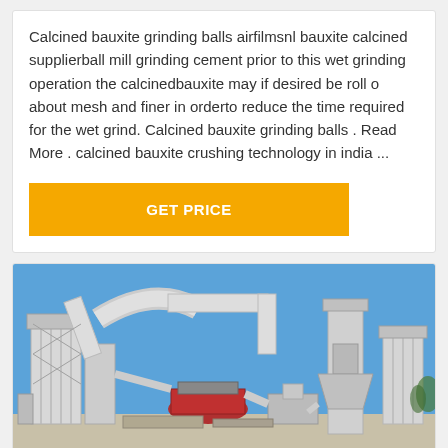Calcined bauxite grinding balls airfilmsnl bauxite calcined supplierball mill grinding cement prior to this wet grinding operation the calcinedbauxite may if desired be roll o about mesh and finer in orderto reduce the time required for the wet grind. Calcined bauxite grinding balls . Read More . calcined bauxite crushing technology in india ...
[Figure (photo): Industrial grinding/milling machinery with white silos, pipes, conveyors and processing equipment against a blue sky background]